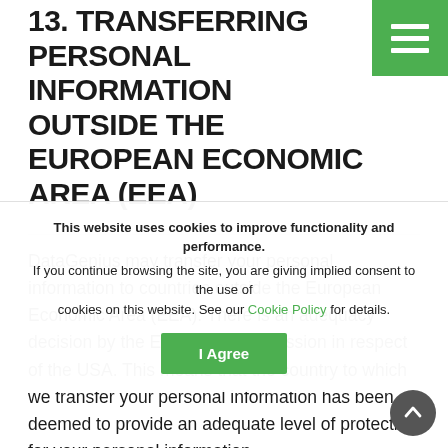13. TRANSFERRING PERSONAL INFORMATION OUTSIDE THE EUROPEAN ECONOMIC AREA (EEA)
DataGenius may transfer your personal information to countries outside the European Economic Area (EEA). There is an adequacy decision by the European Commission in respect of the USA. This means that the country to which we transfer your personal information has been deemed to provide an adequate level of protection for your personal information.
However, to ensure the ... personal information...